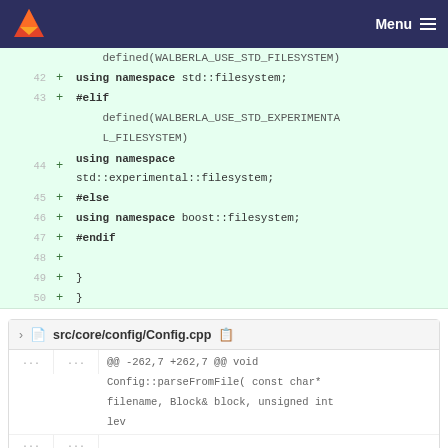Menu
[Figure (screenshot): Code diff showing lines 42-50 with added lines for namespace filesystem includes using using namespace std::filesystem, #elif, defined(WALBERLA_USE_STD_EXPERIMENTAL_FILESYSTEM), using namespace std::experimental::filesystem, #else, using namespace boost::filesystem, #endif, and closing braces]
src/core/config/Config.cpp
@@ -262,7 +262,7 @@ void Config::parseFromFile( const char* filename, Block& block, unsigned int lev